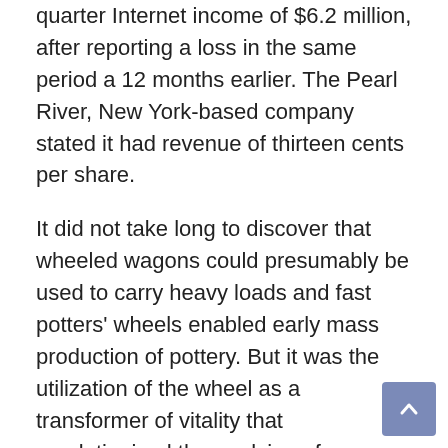quarter Internet income of $6.2 million, after reporting a loss in the same period a 12 months earlier. The Pearl River, New York-based company stated it had revenue of thirteen cents per share.
It did not take long to discover that wheeled wagons could presumably be used to carry heavy loads and fast potters' wheels enabled early mass production of pottery. But it was the utilization of the wheel as a transformer of vitality that revolutionized the applying of nonhuman power sources. Other technological advances made through the Paleolithic era have Technology been clothes and shelter; the adoption of both applied sciences can't be dated precisely, however they were a key to